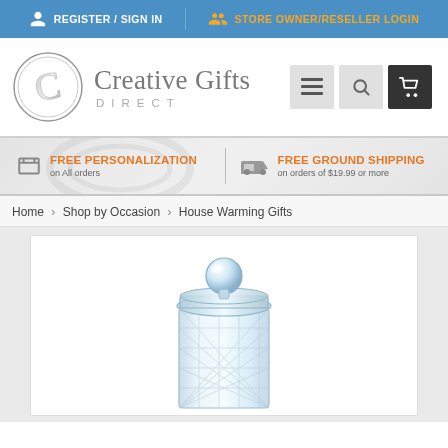REGISTER / SIGN IN   STORE OWNER/RESELLER LOGIN
[Figure (logo): Creative Gifts Direct logo with circular monogram C and serif brand name]
[Figure (screenshot): Navigation icons: hamburger menu, search, shopping cart]
FREE PERSONALIZATION on All orders   FREE GROUND SHIPPING on orders of $19.99 or more
Home › Shop by Occasion › House Warming Gifts
[Figure (photo): Crystal glass jar with diamond-cut pattern and round ball lid knob, product photo on white background]